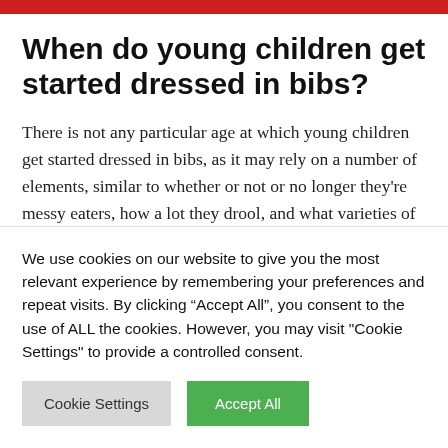When do young children get started dressed in bibs?
There is not any particular age at which young children get started dressed in bibs, as it may rely on a number of elements, similar to whether or not or no longer they're messy eaters, how a lot they drool, and what varieties of meals or beverages they devour.
We use cookies on our website to give you the most relevant experience by remembering your preferences and repeat visits. By clicking “Accept All”, you consent to the use of ALL the cookies. However, you may visit "Cookie Settings" to provide a controlled consent.